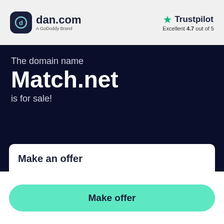[Figure (logo): dan.com logo with dark rounded square icon and text 'dan.com A GoDoddy Brand']
[Figure (logo): Trustpilot logo with green star and text 'Trustpilot Excellent 4.7 out of 5']
The domain name
Match.net
is for sale!
Make an offer
Make offer